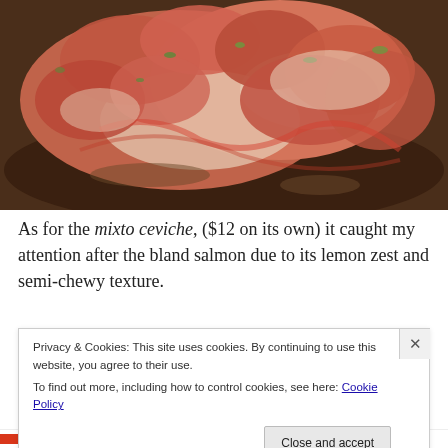[Figure (photo): Close-up photo of mixto ceviche dish — salmon and seafood pieces with herbs and sauce on a dark plate]
As for the mixto ceviche, ($12 on its own) it caught my attention after the bland salmon due to its lemon zest and semi-chewy texture.
Privacy & Cookies: This site uses cookies. By continuing to use this website, you agree to their use.
To find out more, including how to control cookies, see here: Cookie Policy
Close and accept